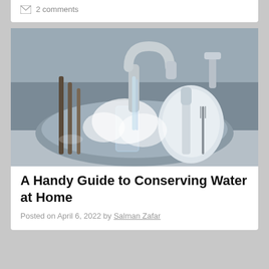2 comments
[Figure (photo): Kitchen sink full of dishes, plates, glasses, and cutlery with water running from a chrome faucet]
A Handy Guide to Conserving Water at Home
Posted on April 6, 2022 by Salman Zafar